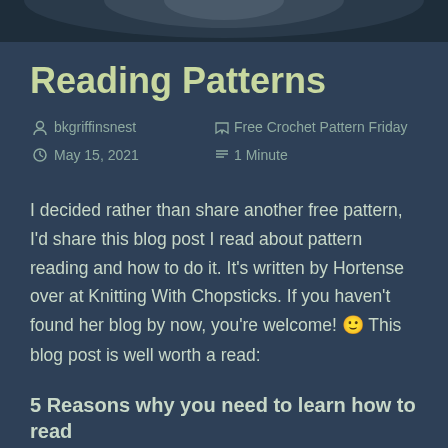[Figure (photo): Dark header photo strip at top of page showing a partial image (appears to be a person or figure) cropped at the top]
Reading Patterns
bkgriffinsnest   Free Crochet Pattern Friday
May 15, 2021   1 Minute
I decided rather than share another free pattern, I'd share this blog post I read about pattern reading and how to do it. It's written by Hortense over at Knitting With Chopsticks. If you haven't found her blog by now, you're welcome! 🙂 This blog post is well worth a read:
5 Reasons why you need to learn how to read crochet patterns